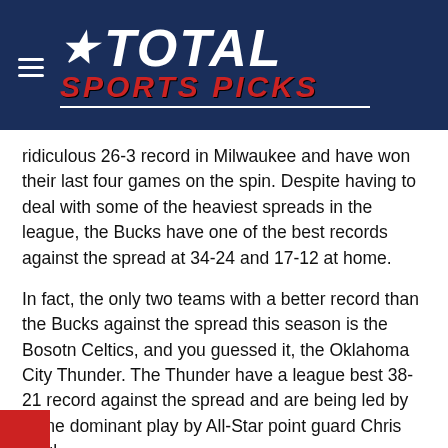Total Sports Picks
ridiculous 26-3 record in Milwaukee and have won their last four games on the spin. Despite having to deal with some of the heaviest spreads in the league, the Bucks have one of the best records against the spread at 34-24 and 17-12 at home.
In fact, the only two teams with a better record than the Bucks against the spread this season is the Bosotn Celtics, and you guessed it, the Oklahoma City Thunder. The Thunder have a league best 38-21 record against the spread and are being led by some dominant play by All-Star point guard Chris Paul.
Paul is averaging 17.5 points and 6.7 assists per game and currently has the Thunder in 5th place in a